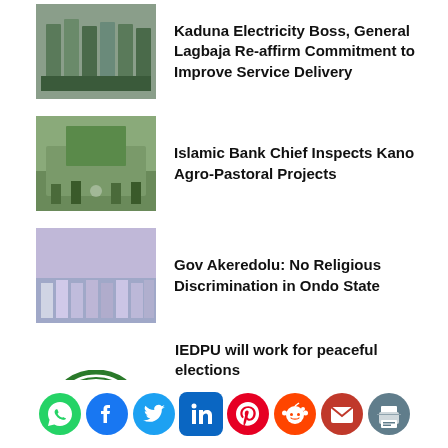[Figure (photo): Group photo of military/uniformed personnel]
Kaduna Electricity Boss, General Lagbaja Re-affirm Commitment to Improve Service Delivery
[Figure (photo): Group photo of officials outside building]
Islamic Bank Chief Inspects Kano Agro-Pastoral Projects
[Figure (photo): Group photo of officials in colorful attire]
Gov Akeredolu: No Religious Discrimination in Ondo State
IEDPU will work for peaceful elections
[Figure (logo): IEDPU circular logo - Irate Descendant Progressive]
Gov Tambuwal Distributes Teaching
[Figure (infographic): Social media sharing icons: WhatsApp, Facebook, Twitter, LinkedIn, Pinterest, Reddit, Email, Print]